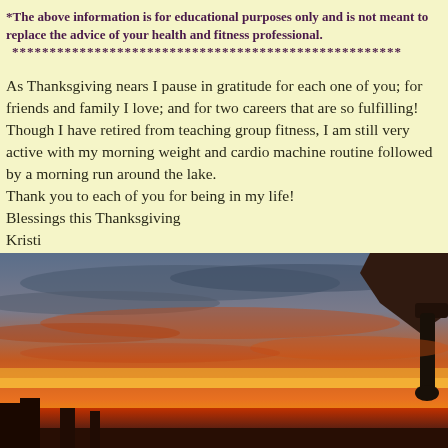*The above information is for educational purposes only and is not meant to replace the advice of your health and fitness professional.
****************************************************
As Thanksgiving nears I pause in gratitude for each one of you; for friends and family I love; and for two careers that are so fulfilling! Though I have retired from teaching group fitness, I am still very active with my morning weight and cardio machine routine followed by a morning run around the lake.
Thank you to each of you for being in my life!
Blessings this Thanksgiving
Kristi
[Figure (photo): Outdoor sunset photo showing a vivid orange and red sky with dark clouds, a calm horizon, and the corner of a building or roof structure in the upper right.]